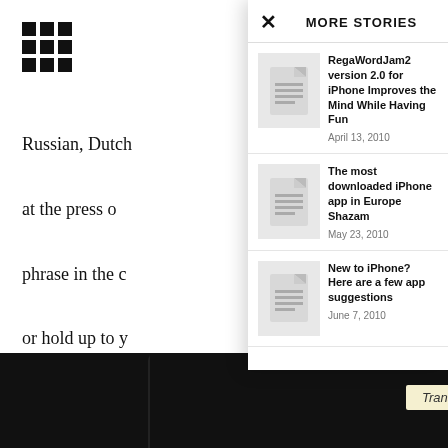[Figure (screenshot): App grid icon (3x3 dots) in top left of background page]
Russian, Dutch
at the press of
phrase in the c
or hold up to y
23 different ca
Directions, Ac
Internet, Going
MORE STORIES
[Figure (screenshot): Thumbnail placeholder with document icon for RegaWordJam2 story]
RegaWordJam2 version 2.0 for iPhone Improves the Mind While Having Fun
April 13, 2010
[Figure (screenshot): Thumbnail placeholder with document icon for most downloaded iPhone app story]
The most downloaded iPhone app in Europe Shazam
May 23, 2010
[Figure (screenshot): Thumbnail placeholder with document icon for New to iPhone story]
New to iPhone? Here are a few app suggestions
June 7, 2010
[Figure (photo): Bottom strip showing iPhone with text 'Alexander' and 'Translating from English to French']